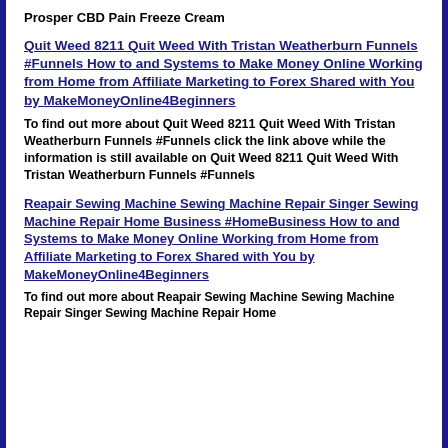Prosper CBD Pain Freeze Cream
Quit Weed 8211 Quit Weed With Tristan Weatherburn Funnels #Funnels How to and Systems to Make Money Online Working from Home from Affiliate Marketing to Forex Shared with You by MakeMoneyOnline4Beginners
To find out more about Quit Weed 8211 Quit Weed With Tristan Weatherburn Funnels #Funnels click the link above while the information is still available on Quit Weed 8211 Quit Weed With Tristan Weatherburn Funnels #Funnels
Reapair Sewing Machine Sewing Machine Repair Singer Sewing Machine Repair Home Business #HomeBusiness How to and Systems to Make Money Online Working from Home from Affiliate Marketing to Forex Shared with You by MakeMoneyOnline4Beginners
To find out more about Reapair Sewing Machine Sewing Machine Repair Singer Sewing Machine Repair Home